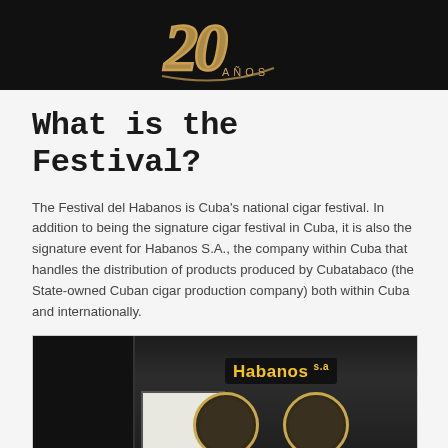[Figure (photo): Dark banner with gold '20 AÑOS' logo text on black background, representing the 20th anniversary of Festival del Habanos]
What is the Festival?
The Festival del Habanos is Cuba's national cigar festival. In addition to being the signature cigar festival in Cuba, it is also the signature event for Habanos S.A., the company within Cuba that handles the distribution of products produced by Cubatabaco (the State-owned Cuban cigar production company) both within Cuba and internationally.
[Figure (photo): Photo of a Habanos S.A. exhibition booth with black curved display panels, the Habanos S.A. logo in yellow text, circular medallion brand logos, and a crowd of attendees visible in the foreground]